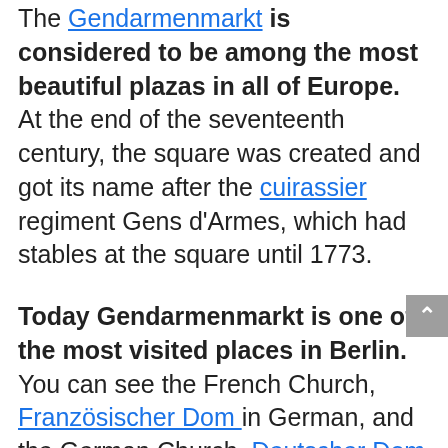The Gendarmenmarkt is considered to be among the most beautiful plazas in all of Europe. At the end of the seventeenth century, the square was created and got its name after the cuirassier regiment Gens d'Armes, which had stables at the square until 1773.
Today Gendarmenmarkt is one of the most visited places in Berlin. You can see the French Church, Französischer Dom in German, and the German Church, Deutscher Dom in German. In the middle of the square